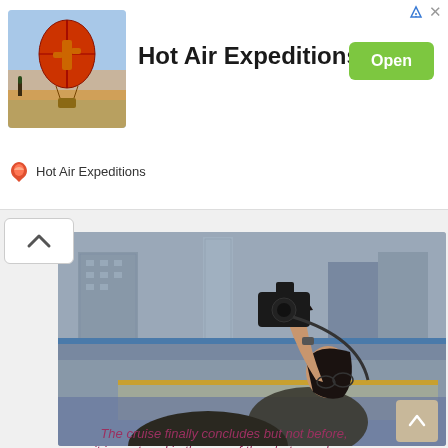[Figure (photo): Advertisement banner for Hot Air Expeditions featuring a red hot air balloon over a desert landscape at sunset]
Hot Air Expeditions
Open
Hot Air Expeditions
[Figure (photo): Photographer holding a camera up to shoot skyward, standing at a waterfront dock with urban skyline and tall buildings in the background, overcast sky]
The cruise finally concludes but not before,
it is captured in the eye of the photographer...